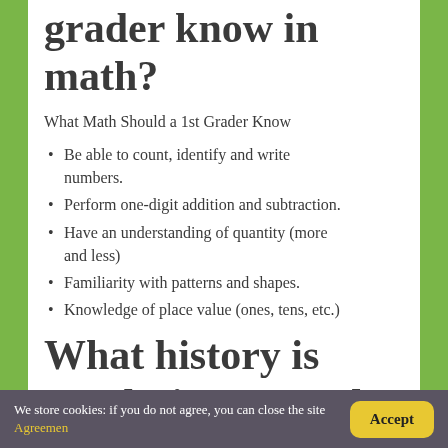grader know in math?
What Math Should a 1st Grader Know
Be able to count, identify and write numbers.
Perform one-digit addition and subtraction.
Have an understanding of quantity (more and less)
Familiarity with patterns and shapes.
Knowledge of place value (ones, tens, etc.)
What history is taught in 1st grade?
We store cookies: if you do not agree, you can close the site Agreemen